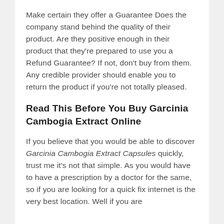Make certain they offer a Guarantee Does the company stand behind the quality of their product. Are they positive enough in their product that they're prepared to use you a Refund Guarantee? If not, don't buy from them. Any credible provider should enable you to return the product if you're not totally pleased.
Read This Before You Buy Garcinia Cambogia Extract Online
If you believe that you would be able to discover Garcinia Cambogia Extract Capsules quickly, trust me it's not that simple. As you would have to have a prescription by a doctor for the same, so if you are looking for a quick fix internet is the very best location. Well if you are